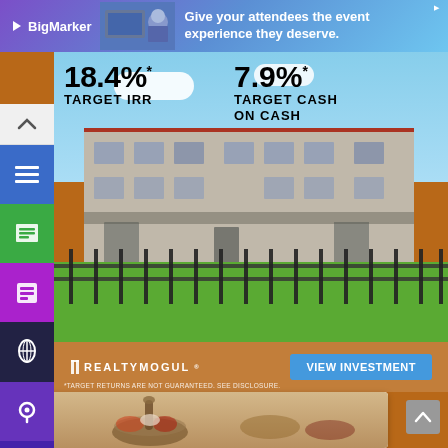[Figure (screenshot): BigMarker advertisement banner at the top: 'Give your attendees the event experience they deserve.']
[Figure (screenshot): RealtyMogul real estate investment advertisement showing apartment complex photo with '18.4% TARGET IRR' and '7.9% TARGET CASH ON CASH' overlaid, with 'VIEW INVESTMENT' button and disclaimer '*TARGET RETURNS ARE NOT GUARANTEED. SEE DISCLOSURE.']
[Figure (screenshot): Partial view of a website navigation sidebar with colored icon buttons and bottom food/spice content card showing a mortar and pestle with spices.]